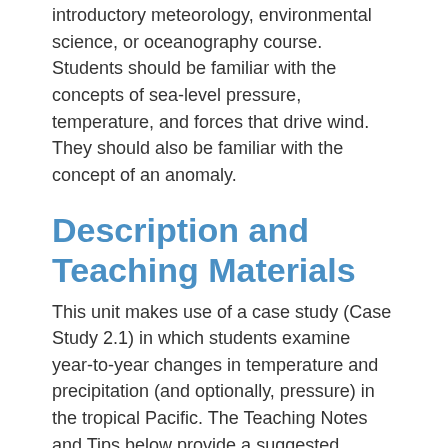introductory meteorology, environmental science, or oceanography course. Students should be familiar with the concepts of sea-level pressure, temperature, and forces that drive wind. They should also be familiar with the concept of an anomaly.
Description and Teaching Materials
This unit makes use of a case study (Case Study 2.1) in which students examine year-to-year changes in temperature and precipitation (and optionally, pressure) in the tropical Pacific. The Teaching Notes and Tips below provide a suggested outline for incorporating this case study into a 50-minute lecture period. The case study in this unit is designed to provide the student with experience examining real data from the tropical Pacific. This activity follows a guided inquiry approach, in which students are provided with very little information about